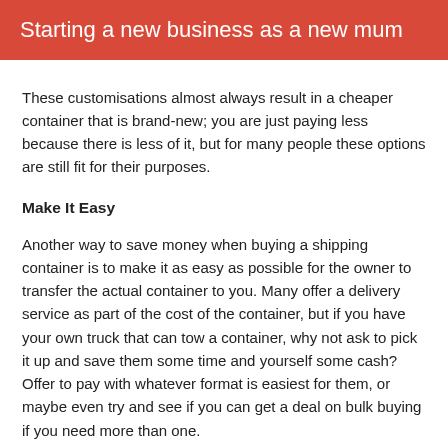Starting a new business as a new mum
These customisations almost always result in a cheaper container that is brand-new; you are just paying less because there is less of it, but for many people these options are still fit for their purposes.
Make It Easy
Another way to save money when buying a shipping container is to make it as easy as possible for the owner to transfer the actual container to you. Many offer a delivery service as part of the cost of the container, but if you have your own truck that can tow a container, why not ask to pick it up and save them some time and yourself some cash? Offer to pay with whatever format is easiest for them, or maybe even try and see if you can get a deal on bulk buying if you need more than one.
Share